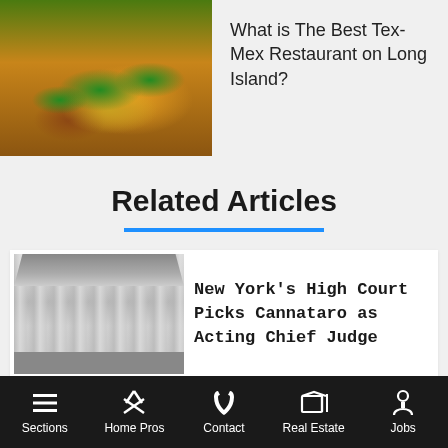[Figure (photo): Photo of Tex-Mex food (tacos/burritos with colorful toppings including green herbs, yellow cheese, red peppers)]
What is The Best Tex-Mex Restaurant on Long Island?
Related Articles
[Figure (photo): Black and white photo of a neoclassical courthouse building with tall columns]
New York’s High Court Picks Cannataro as Acting Chief Judge
Sections | Home Pros | Contact | Real Estate | Jobs